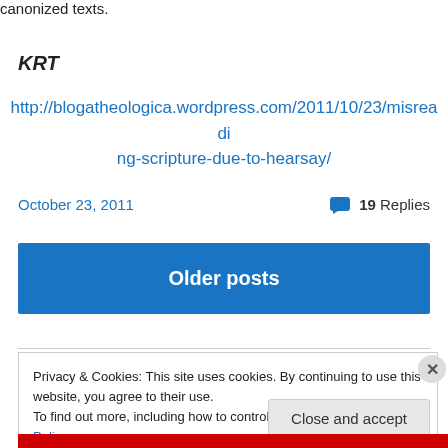canonized texts.
KRT
http://blogaTheologica.wordpress.com/2011/10/23/misreading-scripture-due-to-hearsay/
October 23, 2011   💬 19 Replies
Older posts
Privacy & Cookies: This site uses cookies. By continuing to use this website, you agree to their use.
To find out more, including how to control cookies, see here: Cookie Policy
Close and accept